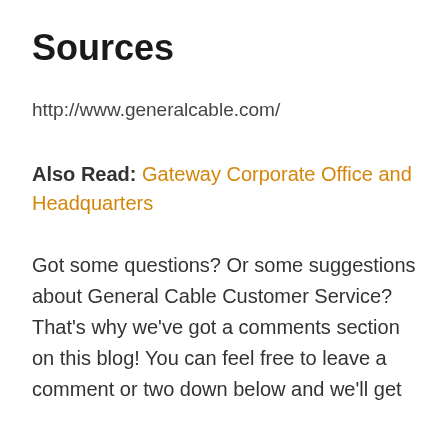Sources
http://www.generalcable.com/
Also Read: Gateway Corporate Office and Headquarters
Got some questions? Or some suggestions about General Cable Customer Service? That's why we've got a comments section on this blog! You can feel free to leave a comment or two down below and we'll get